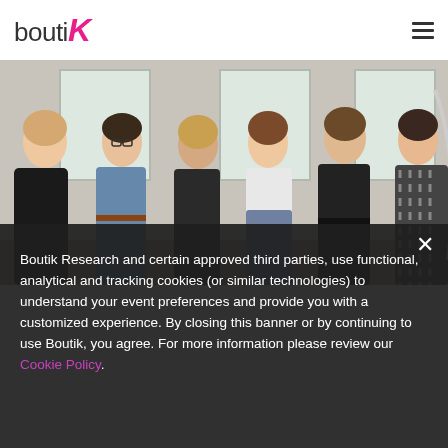boutiK
[Figure (photo): Group photo of six people (three women and three men) standing together in a bright room with large windows, dressed in casual/smart-casual clothing]
Boutik Research and certain approved third parties, use functional, analytical and tracking cookies (or similar technologies) to understand your event preferences and provide you with a customized experience. By closing this banner or by continuing to use Boutik, you agree. For more information please review our Cookie Policy.